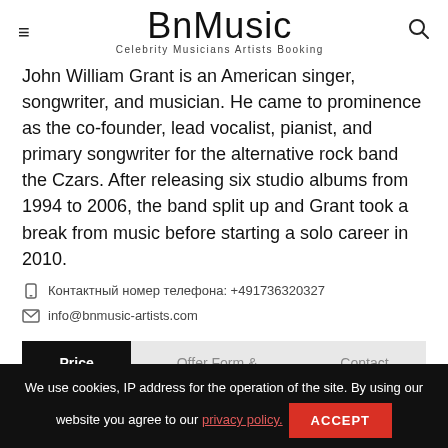BnMusic — Celebrity Musicians Artists Booking
John William Grant is an American singer, songwriter, and musician. He came to prominence as the co-founder, lead vocalist, pianist, and primary songwriter for the alternative rock band the Czars. After releasing six studio albums from 1994 to 2006, the band split up and Grant took a break from music before starting a solo career in 2010.
Контактный номер телефона: +491736320327
info@bnmusic-artists.com
Price | Offer Form & Agreement | Contact
We use cookies, IP address for the operation of the site. By using our website you agree to our privacy policy. ACCEPT